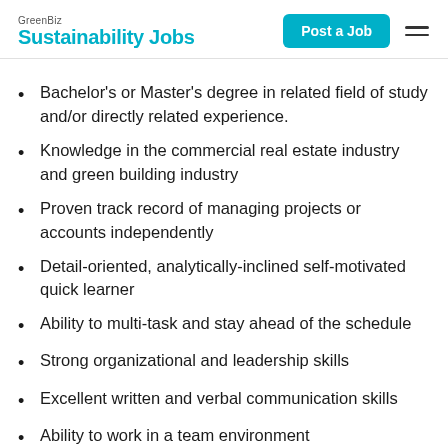GreenBiz Sustainability Jobs
Bachelor's or Master's degree in related field of study and/or directly related experience.
Knowledge in the commercial real estate industry and green building industry
Proven track record of managing projects or accounts independently
Detail-oriented, analytically-inclined self-motivated quick learner
Ability to multi-task and stay ahead of the schedule
Strong organizational and leadership skills
Excellent written and verbal communication skills
Ability to work in a team environment
Ability to handle multiple projects, perform a broad range of simultaneous duties, change